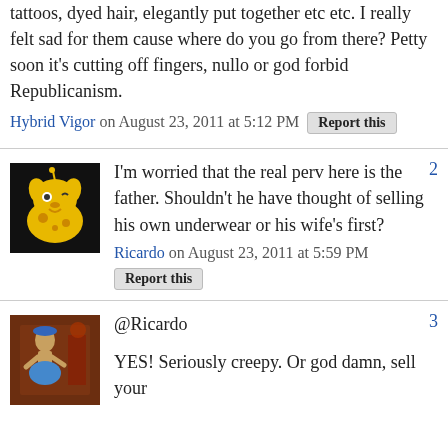tattoos, dyed hair, elegantly put together etc etc. I really felt sad for them cause where do you go from there? Petty soon it's cutting off fingers, nullo or god forbid Republicanism. Hybrid Vigor on August 23, 2011 at 5:12 PM Report this
[Figure (illustration): Yellow cartoon dog avatar on black background]
I'm worried that the real perv here is the father. Shouldn't he have thought of selling his own underwear or his wife's first? Ricardo on August 23, 2011 at 5:59 PM Report this
[Figure (illustration): Artistic painting avatar with figure and blue elements on dark background]
@Ricardo YES! Seriously creepy. Or god damn, sell your